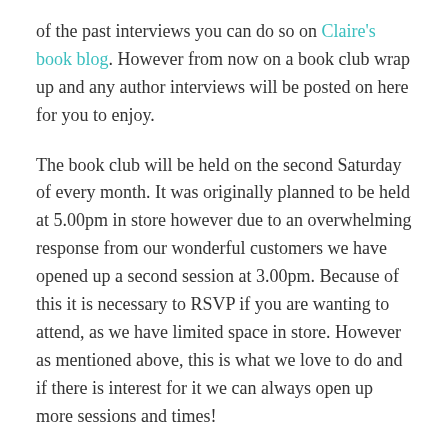of the past interviews you can do so on Claire's book blog. However from now on a book club wrap up and any author interviews will be posted on here for you to enjoy.
The book club will be held on the second Saturday of every month. It was originally planned to be held at 5.00pm in store however due to an overwhelming response from our wonderful customers we have opened up a second session at 3.00pm. Because of this it is necessary to RSVP if you are wanting to attend, as we have limited space in store. However as mentioned above, this is what we love to do and if there is interest for it we can always open up more sessions and times!
If you would like more details and news on the book of month please send an email to